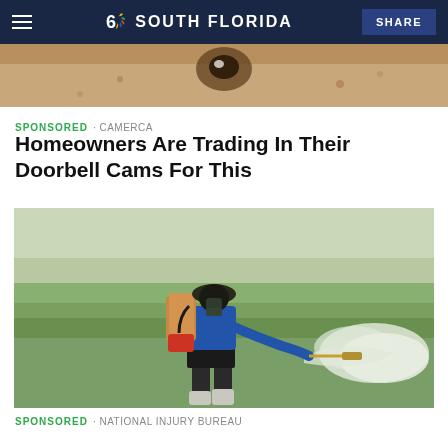NBC 6 South Florida — SHARE
[Figure (photo): Partial top photo showing what appears to be an animal face, sandy/earth tones, cropped at bottom]
SPONSORED · CAMERCA
Homeowners Are Trading In Their Doorbell Cams For This
[Figure (photo): A farmer wearing a hat and blue long-sleeve shirt, carrying a motorized backpack sprayer, spraying pesticide/herbicide over a green rice paddy or grassy field. The spray creates a white mist cloud.]
SPONSORED · NATIONAL INJURY BUREAU